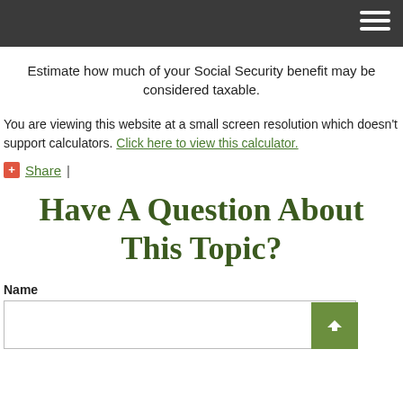Estimate how much of your Social Security benefit may be considered taxable.
You are viewing this website at a small screen resolution which doesn't support calculators. Click here to view this calculator.
+ Share |
Have A Question About This Topic?
Name